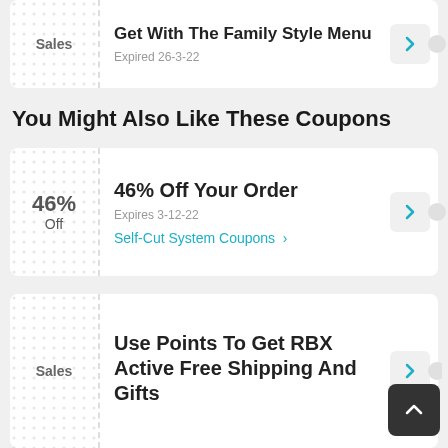[Figure (screenshot): Coupon card: Sales label, 'Get With The Family Style Menu', Expired 26-3-22]
You Might Also Like These Coupons
[Figure (screenshot): Coupon card: 46% Off, '46% Off Your Order', Expires 3-12-22, Self-Cut System Coupons link]
[Figure (screenshot): Coupon card: Sales label, 'Use Points To Get RBX Active Free Shipping And Gifts']